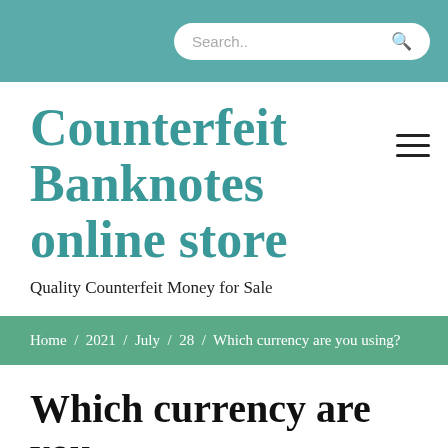Search..
Counterfeit Banknotes online store
Quality Counterfeit Money for Sale
Home / 2021 / July / 28 / Which currency are you using?
Which currency are you using?